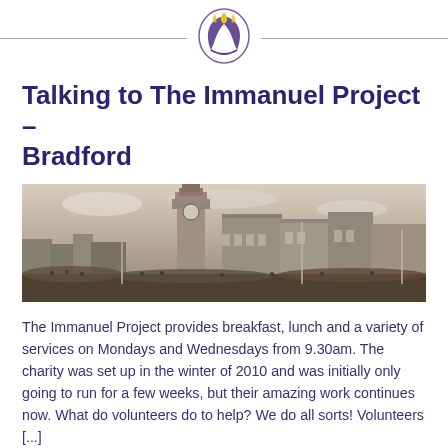[Figure (logo): Circular logo with flame/leaf shape in purple and yellow]
Talking to The Immanuel Project – Bradford
[Figure (photo): Black and white panoramic photo of Bradford cityscape featuring a prominent clock tower and Victorian-era buildings with crowds in the foreground]
The Immanuel Project provides breakfast, lunch and a variety of services on Mondays and Wednesdays from 9.30am. The charity was set up in the winter of 2010 and was initially only going to run for a few weeks, but their amazing work continues now. What do volunteers do to help? We do all sorts! Volunteers [...]